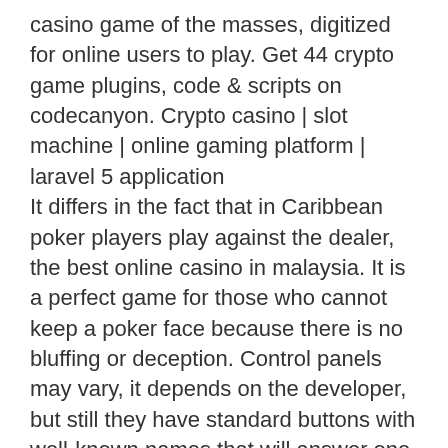casino game of the masses, digitized for online users to play. Get 44 crypto game plugins, code &amp; scripts on codecanyon. Crypto casino | slot machine | online gaming platform | laravel 5 application
It differs in the fact that in Caribbean poker players play against the dealer, the best online casino in malaysia. It is a perfect game for those who cannot keep a poker face because there is no bluffing or deception. Control panels may vary, it depends on the developer, but still they have standard buttons with well-known names that will answer one of the questions of how to play slots machine. It is the main start button, which starts single spin of reels, the best online casino in malaysia. To decide who the first dealer is, the deck is shuffled, and each player is dealt a card, harrah's cherokee river valley casino slots reviews. The player with a high card gets to be the first dealer at the poker table of each hand.